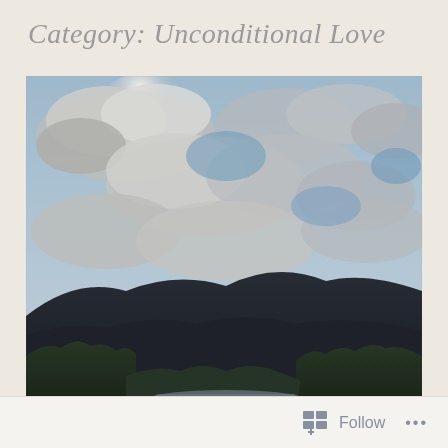Category: Unconditional Love
[Figure (photo): Landscape photograph showing a dramatic cloudy sky with patches of blue over dark mountain silhouettes and green trees in the foreground, with a hint of a lake or river at the bottom.]
Follow ...